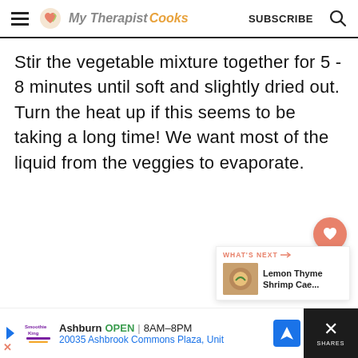My Therapist Cooks — SUBSCRIBE
Stir the vegetable mixture together for 5 - 8 minutes until soft and slightly dried out.  Turn the heat up if this seems to be taking a long time!  We want most of the liquid from the veggies to evaporate.
[Figure (other): Floating heart/save button (salmon/orange circle with heart icon) and floating share button (white circle with share icon)]
[Figure (other): What's Next promotional box showing a food image thumbnail with text 'Lemon Thyme Shrimp Cae...']
[Figure (other): Advertisement bar: Smoothie King logo, Ashburn OPEN 8AM-8PM, 20035 Ashbrook Commons Plaza, Unit. Navigation icon and close button on right.]